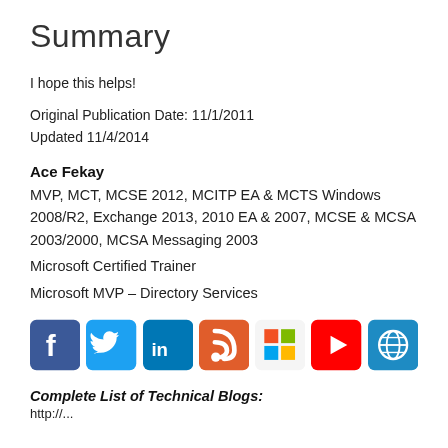Summary
I hope this helps!
Original Publication Date: 11/1/2011
Updated 11/4/2014
Ace Fekay
MVP, MCT, MCSE 2012, MCITP EA & MCTS Windows 2008/R2, Exchange 2013, 2010 EA & 2007, MCSE & MCSA 2003/2000, MCSA Messaging 2003
Microsoft Certified Trainer
Microsoft MVP – Directory Services
[Figure (infographic): Row of 7 social media icons: Facebook (blue with f), Twitter (blue with bird), LinkedIn (dark blue with in), Blogger (orange with RSS wave), Windows/Microsoft (colored squares), YouTube (red with play button), Globe/web (teal with globe)]
Complete List of Technical Blogs:
http://...